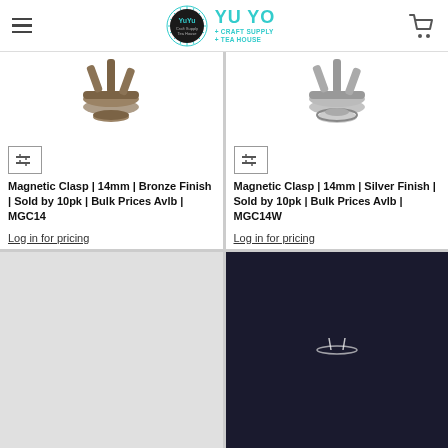YU YO Craft Supply + Tea House
[Figure (photo): Magnetic clasp 14mm bronze finish product photo on white background]
Magnetic Clasp | 14mm | Bronze Finish | Sold by 10pk | Bulk Prices Avlb | MGC14
Log in for pricing
[Figure (photo): Magnetic clasp 14mm silver finish product photo on white background]
Magnetic Clasp | 14mm | Silver Finish | Sold by 10pk | Bulk Prices Avlb | MGC14W
Log in for pricing
[Figure (photo): Product image partially visible, light gray background]
[Figure (photo): Product image on dark navy/black background with white item visible]